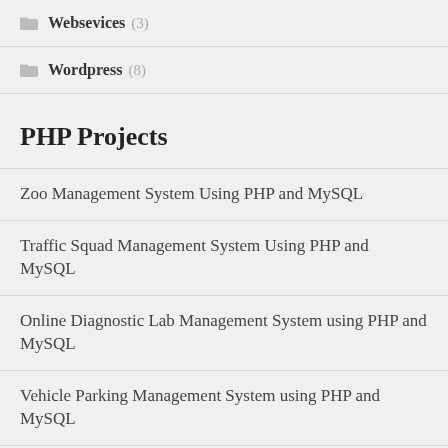Websevices (3)
Wordpress (8)
PHP Projects
Zoo Management System Using PHP and MySQL
Traffic Squad Management System Using PHP and MySQL
Online Diagnostic Lab Management System using PHP and MySQL
Vehicle Parking Management System using PHP and MySQL